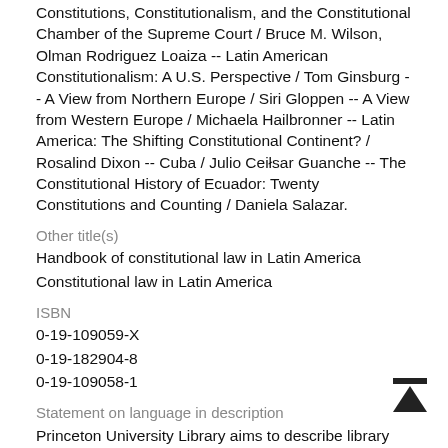Constitutions, Constitutionalism, and the Constitutional Chamber of the Supreme Court / Bruce M. Wilson, Olman Rodriguez Loaiza -- Latin American Constitutionalism: A U.S. Perspective / Tom Ginsburg -- A View from Northern Europe / Siri Gloppen -- A View from Western Europe / Michaela Hailbronner -- Latin America: The Shifting Constitutional Continent? / Rosalind Dixon -- Cuba / Julio César Guanche -- The Constitutional History of Ecuador: Twenty Constitutions and Counting / Daniela Salazar.
Other title(s)
Handbook of constitutional law in Latin America
Constitutional law in Latin America
ISBN
0-19-109059-X
0-19-182904-8
0-19-109058-1
Statement on language in description
Princeton University Library aims to describe library materials in a manner that is respectful to the individuals and communities who create, use, and are represented in the collections we